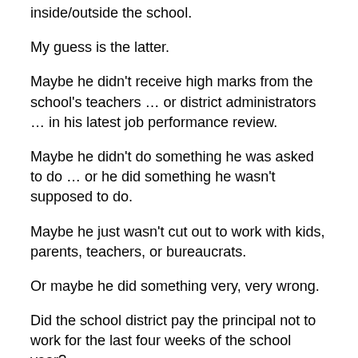inside/outside the school.
My guess is the latter.
Maybe he didn't receive high marks from the school's teachers … or district administrators … in his latest job performance review.
Maybe he didn't do something he was asked to do … or he did something he wasn't supposed to do.
Maybe he just wasn't cut out to work with kids, parents, teachers, or bureaucrats.
Or maybe he did something very, very wrong.
Did the school district pay the principal not to work for the last four weeks of the school year?